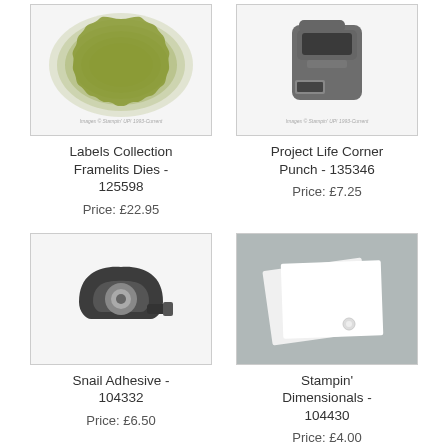[Figure (photo): Labels Collection Framelits Dies - olive green layered label die cuts]
Labels Collection Framelits Dies - 125598
Price: £22.95
[Figure (photo): Project Life Corner Punch - dark grey corner punch tool]
Project Life Corner Punch - 135346
Price: £7.25
[Figure (photo): Snail Adhesive - black adhesive tape roller dispenser]
Snail Adhesive - 104332
Price: £6.50
[Figure (photo): Stampin Dimensionals - white foam adhesive squares on grey background]
Stampin' Dimensionals - 104430
Price: £4.00